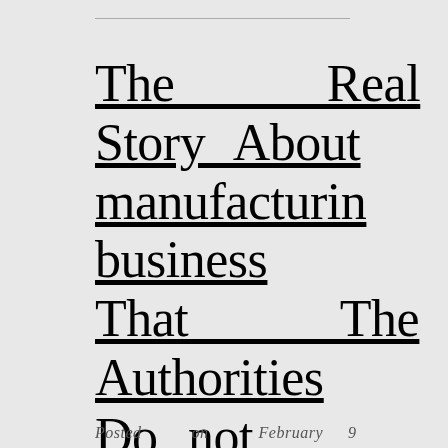The Real Story About manufacturing business That The Authorities Do not Want One To Know
Posted on February 9